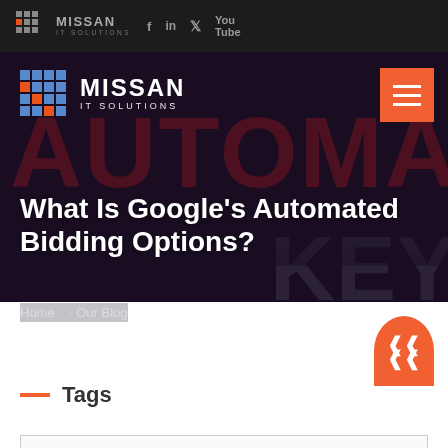MISSAN IT SOLUTIONS
[Figure (screenshot): Hero banner with dark background showing partial text AUTOMAT and KEYW, with Missan IT Solutions logo and hamburger menu]
What Is Google's Automated Bidding Options?
Home > Our Blog
Tags